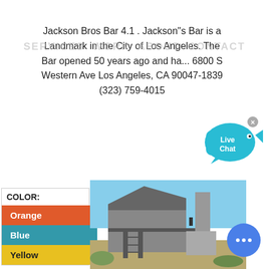SERVICES  WORK  ABOUT  CONTACT
Jackson Bros Bar 4.1 . Jackson"s Bar is a Landmark in the City of Los Angeles. The Bar opened 50 years ago and ha... 6800 S Western Ave Los Angeles, CA 90047-1839 (323) 759-4015
[Figure (illustration): Live Chat bubble UI element — cyan speech bubble with fish icon and 'Live Chat' text, with an X close button]
COLOR:
Orange
Blue
Yellow
[Figure (photo): Industrial building/structure photographed from below, showing metal framework, stairs, and concrete, against a blue sky]
[Figure (illustration): Round blue chat/messaging button with ellipsis icon]